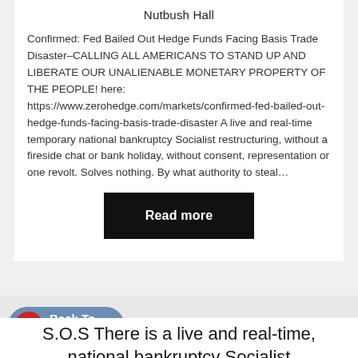Nutbush Hall
Confirmed: Fed Bailed Out Hedge Funds Facing Basis Trade Disaster–CALLING ALL AMERICANS TO STAND UP AND LIBERATE OUR UNALIENABLE MONETARY PROPERTY OF THE PEOPLE! here: https://www.zerohedge.com/markets/confirmed-fed-bailed-out-hedge-funds-facing-basis-trade-disaster A live and real-time temporary national bankruptcy Socialist restructuring, without a fireside chat or bank holiday, without consent, representation or one revolt. Solves nothing. By what authority to steal…
[Figure (other): Black 'Read more' button]
[Figure (other): Blue rounded 'Back To Top' button with red circle arrow icon]
S.O.S There is a live and real-time, national bankruptcy Socialist